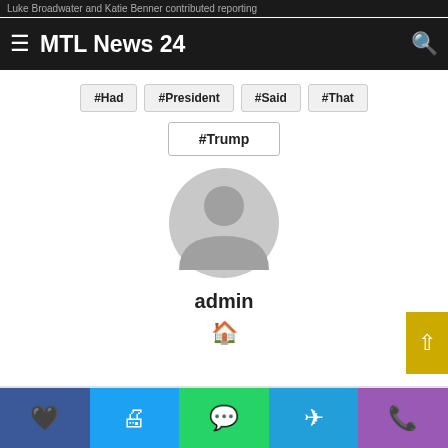Luke Broadwater and Katie Benner contributed reporting
≡  MTL News 24  🔍
#Had
#President
#Said
#That
#Trump
[Figure (illustration): Gray circular avatar icon with silhouette of a person (head and shoulders)]
admin
🏠